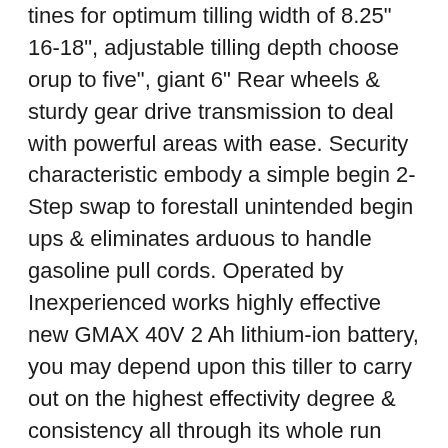tines for optimum tilling width of 8.25" 16-18", adjustable tilling depth choose orup to five", giant 6" Rear wheels & sturdy gear drive transmission to deal with powerful areas with ease. Security characteristic embody a simple begin 2-Step swap to forestall unintended begin ups & eliminates arduous to handle gasoline pull cords. Operated by Inexperienced works highly effective new GMAX 40V 2 Ah lithium-ion battery, you may depend upon this tiller to carry out on the highest effectivity degree & consistency all through its whole run time ofup to 40 Min with zero carbon footprint within the yd. Improve your run time with our GMAX 40V four Ah battery. Vitality Star rated, you may cost your battery for $.04 or much less, saving you cash & keep away from messing oil spills & Extension Cords. Inexperienced works gentle weight design makes this the final word cultivator & an awesome software for the entire yd work resolution.